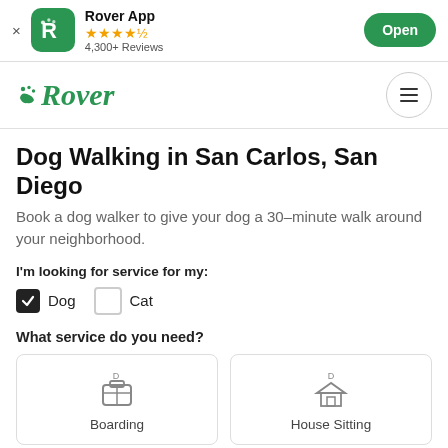Rover App  ★★★★½  4,300+ Reviews  Open
[Figure (logo): Rover green paw logo with italic Rover text in green]
Dog Walking in San Carlos, San Diego
Book a dog walker to give your dog a 30–minute walk around your neighborhood.
I'm looking for service for my:
Dog (checked)  Cat (unchecked)
What service do you need?
[Figure (illustration): Boarding icon: dog with suitcase/briefcase icon]
Boarding
[Figure (illustration): House Sitting icon: dog with house icon]
House Sitting